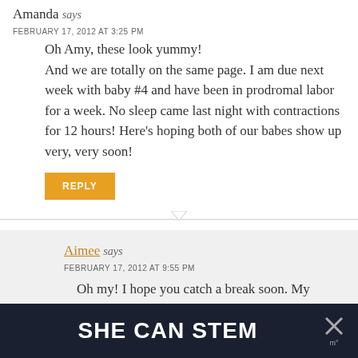Amanda says
FEBRUARY 17, 2012 AT 3:25 PM
Oh Amy, these look yummy! And we are totally on the same page. I am due next week with baby #4 and have been in prodromal labor for a week. No sleep came last night with contractions for 12 hours! Here's hoping both of our babes show up very, very soon!
REPLY
Aimee says
FEBRUARY 17, 2012 AT 9:55 PM
Oh my! I hope you catch a break soon. My nights are rough, but not that bad! All the best
SHE CAN STEM